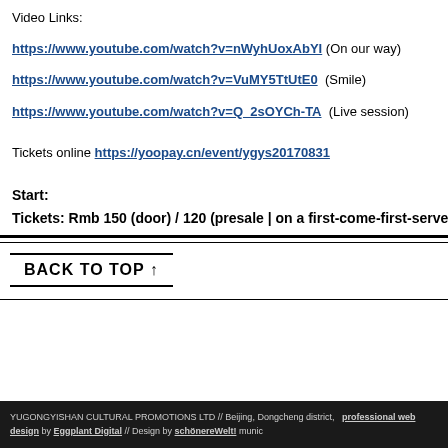Video Links:
https://www.youtube.com/watch?v=nWyhUoxAbYI (On our way)
https://www.youtube.com/watch?v=VuMY5TtUtE0  (Smile)
https://www.youtube.com/watch?v=Q_2sOYCh-TA  (Live session)
Tickets online https://yoopay.cn/event/ygys20170831
Start:
Tickets: Rmb 150 (door) / 120 (presale | on a first-come-first-serve-
BACK TO TOP ↑
YUGONGYISHAN CULTURAL PROMOTIONS LTD // Beijing, Dongcheng district, ... professional web design by Eggplant Digital // Design by schönereWelt! munic